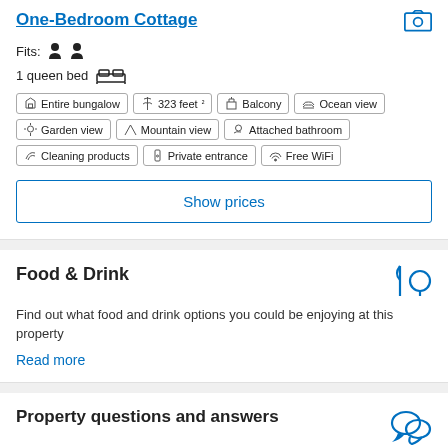One-Bedroom Cottage
Fits: [person icons]
1 queen bed [bed icon]
Entire bungalow
323 feet²
Balcony
Ocean view
Garden view
Mountain view
Attached bathroom
Cleaning products
Private entrance
Free WiFi
Show prices
Food & Drink
Find out what food and drink options you could be enjoying at this property
Read more
Property questions and answers
Find out info about the property in the questions and answers